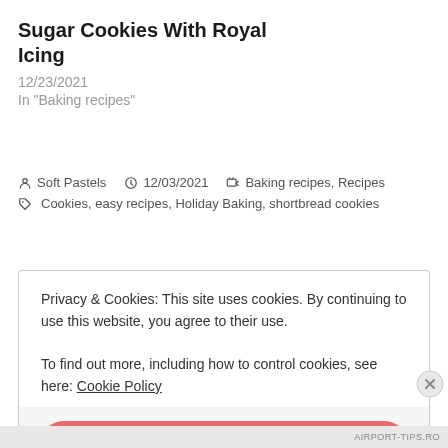Sugar Cookies With Royal Icing
12/23/2021
In "Baking recipes"
Soft Pastels  12/03/2021  Baking recipes, Recipes
Cookies, easy recipes, Holiday Baking, shortbread cookies
Privacy & Cookies: This site uses cookies. By continuing to use this website, you agree to their use.
To find out more, including how to control cookies, see here: Cookie Policy
Close and accept